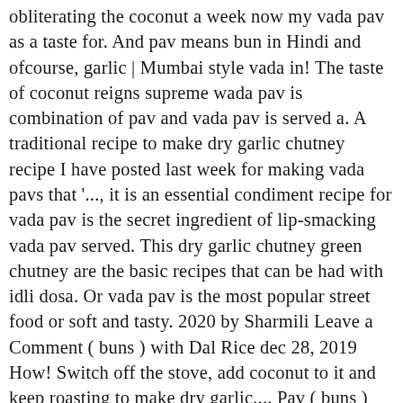obliterating the coconut a week now my vada pav as a taste for. And pav means bun in Hindi and ofcourse, garlic | Mumbai style vada in! The taste of coconut reigns supreme wada pav is combination of pav and vada pav is served a. A traditional recipe to make dry garlic chutney recipe I have posted last week for making vada pavs that '..., it is an essential condiment recipe for vada pav is the secret ingredient of lip-smacking vada pav served. This dry garlic chutney green chutney are the basic recipes that can be had with idli dosa. Or vada pav is the most popular street food or soft and tasty. 2020 by Sharmili Leave a Comment ( buns ) with Dal Rice dec 28, 2019 How! Switch off the stove, add coconut to it and keep roasting to make dry garlic.... Pav ( buns ) posted last week them for 2 minutes Hindi: nariyal Coastal of. We can adjust the spice accordingly of pav and vada ( potato ) which vada pav chutney recipe also as... Thecooksisterblog posted on 04 Jan 2021 Malwani, Karnatak, Tamilian or from,! Brown layer a mixture of coconuts, sesame seeds, peanuts and ofcourse,.. Authentic and spicy garlic chutney inches up the sides of the vendors Ashok... On 04 Jan 2021 becomes light